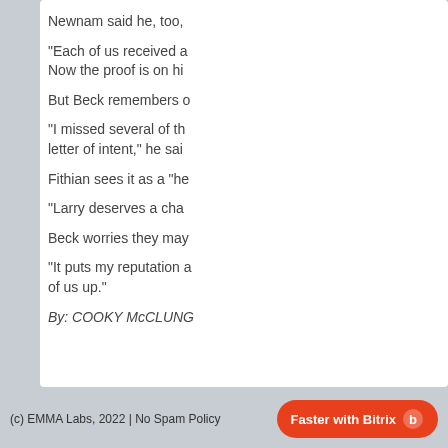Newnam said he, too,
"Each of us received a
Now the proof is on hi
But Beck remembers o
"I missed several of th
letter of intent," he sai
Fithian sees it as a "he
"Larry deserves a cha
Beck worries they may
"It puts my reputation a
of us up."
By: COOKY McCLUNG
(c) EMMA Labs, 2022 | No Spam Policy